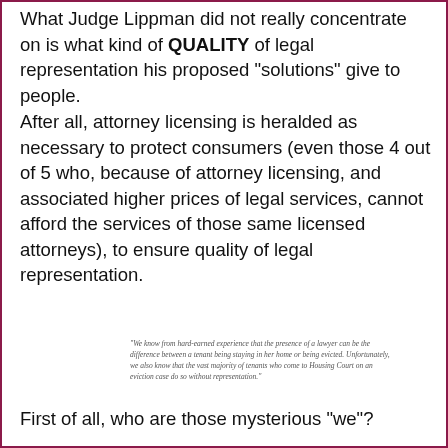What Judge Lippman did not really concentrate on is what kind of QUALITY of legal representation his proposed "solutions" give to people.
After all, attorney licensing is heralded as necessary to protect consumers (even those 4 out of 5 who, because of attorney licensing, and associated higher prices of legal services, cannot afford the services of those same licensed attorneys), to ensure quality of legal representation.
"We know from hard-earned experience that the presence of a lawyer can be the difference between a tenant being staying in her home or being evicted. Unfortunately, we also know that the vast majority of tenants who come to Housing Court on an eviction case do so without representation."
First of all, who are those mysterious "we"?
Was Lippman ever evicted to speak of "hard-earned experience"?
And shouldn't he ask, first of all, how we all become prisoners and...